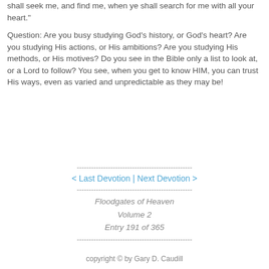shall seek me, and find me, when ye shall search for me with all your heart."
Question: Are you busy studying God's history, or God's heart? Are you studying His actions, or His ambitions? Are you studying His methods, or His motives? Do you see in the Bible only a list to look at, or a Lord to follow? You see, when you get to know HIM, you can trust His ways, even as varied and unpredictable as they may be!
< Last Devotion | Next Devotion >
Floodgates of Heaven
Volume 2
Entry 191 of 365
copyright © by Gary D. Caudill